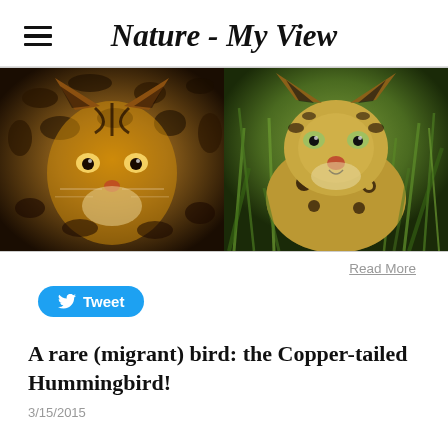Nature - My View
[Figure (photo): Two side-by-side wildlife photos: left shows an ocelot (spotted wild cat) face close-up, right shows a jaguar walking through green grass]
Read More
Tweet
A rare (migrant) bird: the Copper-tailed Hummingbird!
3/15/2015